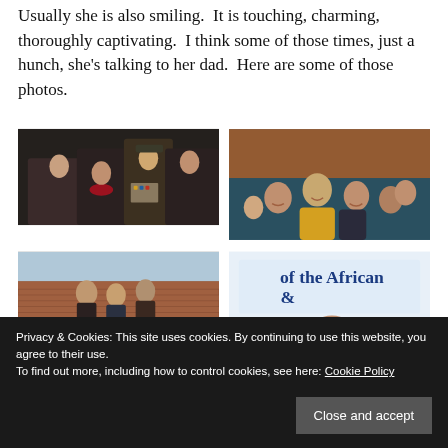Usually she is also smiling.  It is touching, charming, thoroughly captivating.  I think some of those times, just a hunch, she's talking to her dad.  Here are some of those photos.
[Figure (photo): Group of people seated, including a woman in a red scarf and a Marine in dress uniform]
[Figure (photo): Group of smiling people looking upward, woman in yellow jacket prominent]
[Figure (photo): Outdoor scene with people near a brick building]
[Figure (photo): Sign reading 'of the African &' with a person partially visible]
[Figure (photo): Partial photo at bottom left, partially obscured by cookie banner]
[Figure (photo): Partial photo at bottom right, partially obscured by cookie banner]
Privacy & Cookies: This site uses cookies. By continuing to use this website, you agree to their use.
To find out more, including how to control cookies, see here: Cookie Policy
Close and accept